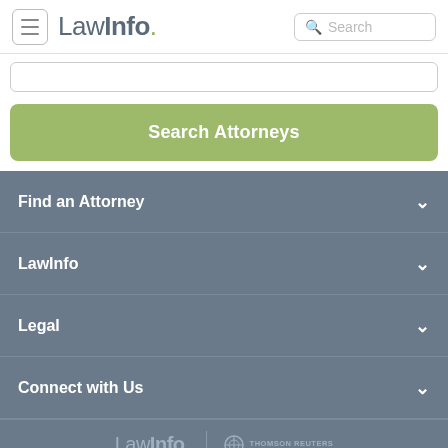LawInfo. Search
Search Attorneys
Find an Attorney
LawInfo
Legal
Connect with Us
LawInfo | THOMSON REUTERS